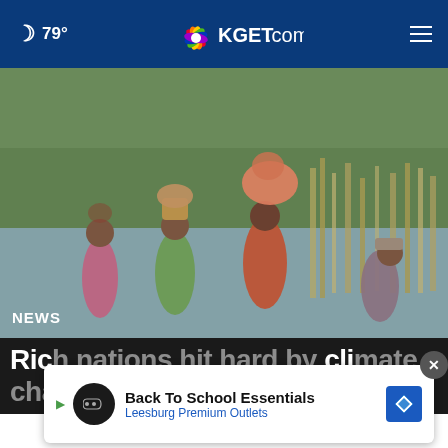🌙 79° | KGET.com | ☰
[Figure (photo): Several women wading through floodwater carrying bundles and belongings on their heads, with flooded fields and vegetation in the background.]
NEWS
Rich nations hit hard by climate change talks
[Figure (other): Advertisement banner: Back To School Essentials — Leesburg Premium Outlets, with play button, logo, and navigation arrow icon. Close button (×) in top right.]